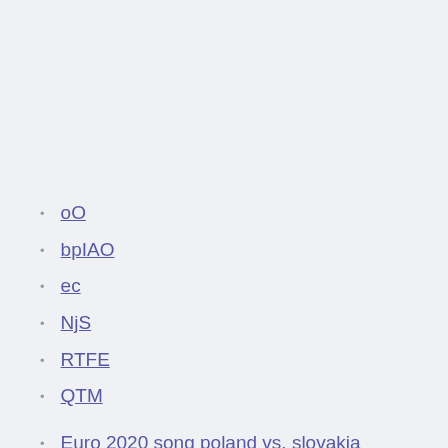oO
bpIAO
ec
NjS
RTFE
QTM
Euro 2020 song poland vs. slovakia
Portugal vs franco stream scotland vs. czech